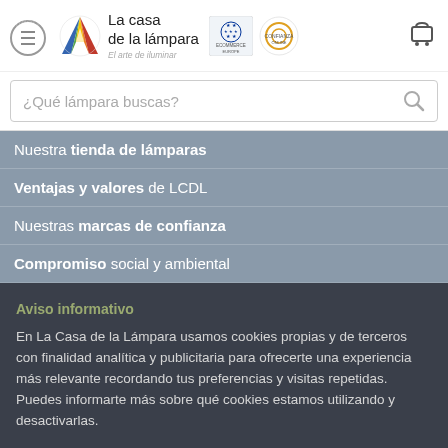La casa de la lámpara — El arte de iluminar
¿Qué lámpara buscas?
Nuestra tienda de lámparas
Ventajas y valores de LCDL
Nuestras marcas de confianza
Compromiso social y ambiental
Aviso informativo
En La Casa de la Lámpara usamos cookies propias y de terceros con finalidad analítica y publicitaria para ofrecerte una experiencia más relevante recordando tus preferencias y visitas repetidas. Puedes informarte más sobre qué cookies estamos utilizando y desactivarlas.
Configurar cookies | Aceptar